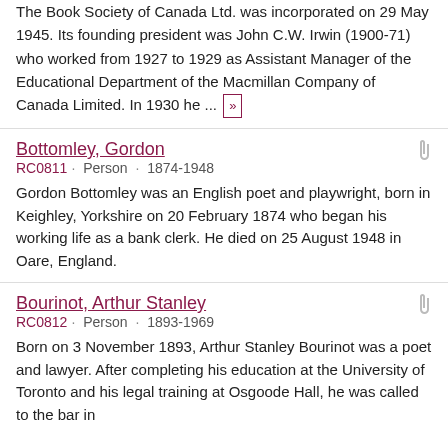The Book Society of Canada Ltd. was incorporated on 29 May 1945. Its founding president was John C.W. Irwin (1900-71) who worked from 1927 to 1929 as Assistant Manager of the Educational Department of the Macmillan Company of Canada Limited. In 1930 he ... »
Bottomley, Gordon
RC0811 · Person · 1874-1948
Gordon Bottomley was an English poet and playwright, born in Keighley, Yorkshire on 20 February 1874 who began his working life as a bank clerk. He died on 25 August 1948 in Oare, England.
Bourinot, Arthur Stanley
RC0812 · Person · 1893-1969
Born on 3 November 1893, Arthur Stanley Bourinot was a poet and lawyer. After completing his education at the University of Toronto and his legal training at Osgoode Hall, he was called to the bar in